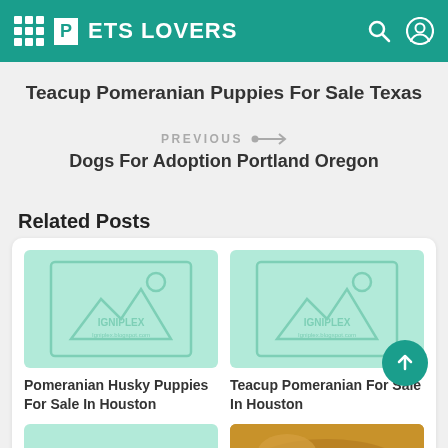PETS LOVERS
Teacup Pomeranian Puppies For Sale Texas
PREVIOUS → Dogs For Adoption Portland Oregon
Related Posts
[Figure (illustration): Placeholder image for Pomeranian Husky Puppies For Sale In Houston]
Pomeranian Husky Puppies For Sale In Houston
[Figure (illustration): Placeholder image for Teacup Pomeranian For Sale In Houston]
Teacup Pomeranian For Sale In Houston